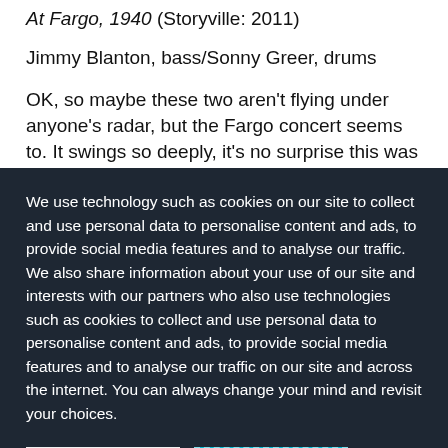At Fargo, 1940 (Storyville: 2011)
Jimmy Blanton, bass/Sonny Greer, drums
OK, so maybe these two aren't flying under anyone's radar, but the Fargo concert seems to. It swings so deeply, it's no surprise this was a dance gig. The more
We use technology such as cookies on our site to collect and use personal data to personalise content and ads, to provide social media features and to analyse our traffic. We also share information about your use of our site and interests with our partners who also use technologies such as cookies to collect and use personal data to personalise content and ads, to provide social media features and to analyse our traffic on our site and across the internet. You can always change your mind and revisit your choices.
Manage Options
I Accept